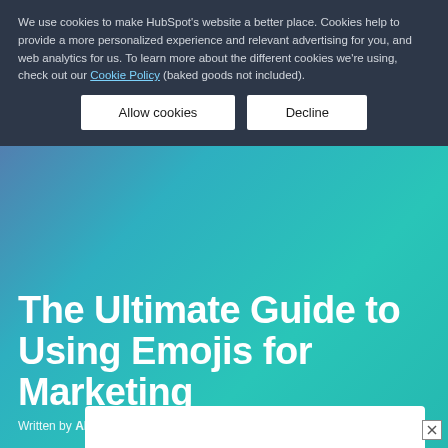We use cookies to make HubSpot's website a better place. Cookies help to provide a more personalized experience and relevant advertising for you, and web analytics for us. To learn more about the different cookies we're using, check out our Cookie Policy (baked goods not included).
[Figure (other): Cookie consent buttons: 'Allow cookies' and 'Decline' on dark background banner]
The Ultimate Guide to Using Emojis for Marketing
Written by Allie Decker
Learn why you should use emojis in your marketing and how they can help connect with your audience and grow your brand